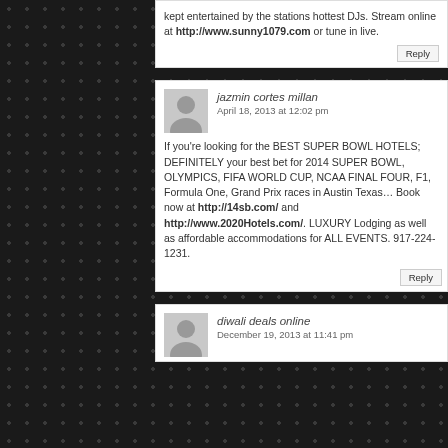kept entertained by the stations hottest DJs. Stream online at http://www.sunny1079.com or tune in live.
jazmin cortes millan
April 18, 2013 at 12:02 pm
If you're looking for the BEST SUPER BOWL HOTELS; DEFINITELY your best bet for 2014 SUPER BOWL, OLYMPICS, FIFA WORLD CUP, NCAA FINAL FOUR, F1, Formula One, Grand Prix races in Austin Texas… Book now at http://14sb.com/ and http://www.2020Hotels.com/. LUXURY Lodging as well as affordable accommodations for ALL EVENTS. 917-224-1231.
diwali deals online
December 19, 2013 at 11:41 pm